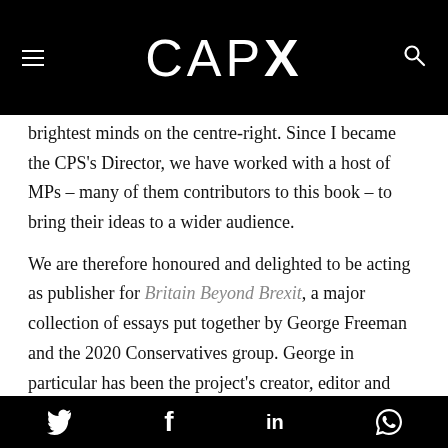CAPX
brightest minds on the centre-right. Since I became the CPS's Director, we have worked with a host of MPs – many of them contributors to this book – to bring their ideas to a wider audience.
We are therefore honoured and delighted to be acting as publisher for Britain Beyond Brexit, a major collection of essays put together by George Freeman and the 2020 Conservatives group. George in particular has been the project's creator, editor and inspiration – and all credit for the contents should go to him and his team, as well as to the
Twitter  Facebook  LinkedIn  WhatsApp